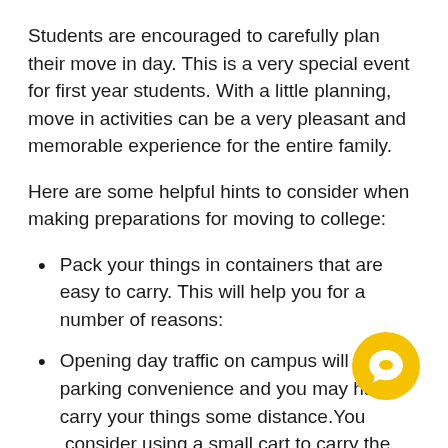Students are encouraged to carefully plan their move in day. This is a very special event for first year students. With a little planning, move in activities can be a very pleasant and memorable experience for the entire family.
Here are some helpful hints to consider when making preparations for moving to college:
Pack your things in containers that are easy to carry. This will help you for a number of reasons:
Opening day traffic on campus will limit parking convenience and you may have carry your things some distance. You consider using a small cart to carry the heavy items.